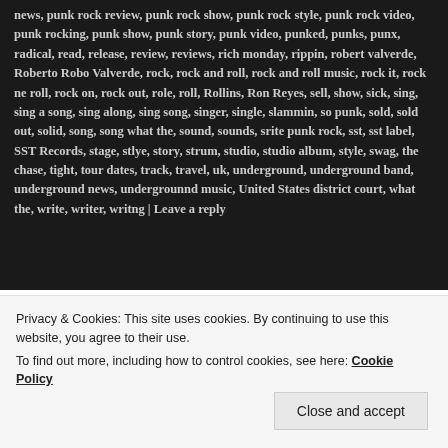news, punk rock review, punk rock show, punk rock style, punk rock video, punk rocking, punk show, punk story, punk video, punked, punks, punx, radical, read, release, review, reviews, rich monday, rippin, robert valverde, Roberto Robo Valverde, rock, rock and roll, rock and roll music, rock it, rock ne roll, rock on, rock out, role, roll, Rollins, Ron Reyes, sell, show, sick, sing, sing a song, sing along, sing song, singer, single, slammin, so punk, sold, sold out, solid, song, song what the, sound, sounds, srite punk rock, sst, sst label, SST Records, stage, stlye, story, strum, studio, studio album, style, swag, the chase, tight, tour dates, track, travel, uk, underground, underground band, underground news, undergrounnd music, United States district court, what the, write, writer, writng | Leave a reply
Privacy & Cookies: This site uses cookies. By continuing to use this website, you agree to their use. To find out more, including how to control cookies, see here: Cookie Policy